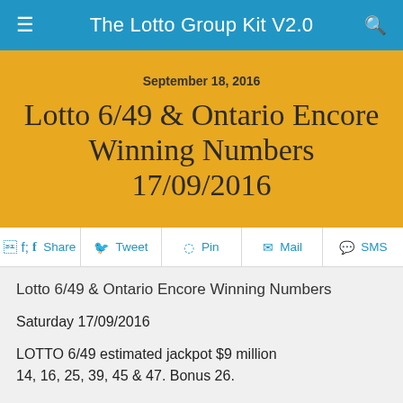The Lotto Group Kit V2.0
September 18, 2016
Lotto 6/49 & Ontario Encore Winning Numbers 17/09/2016
Share  Tweet  Pin  Mail  SMS
Lotto 6/49 & Ontario Encore Winning Numbers
Saturday 17/09/2016
LOTTO 6/49 estimated jackpot $9 million
14, 16, 25, 39, 45 & 47. Bonus 26.